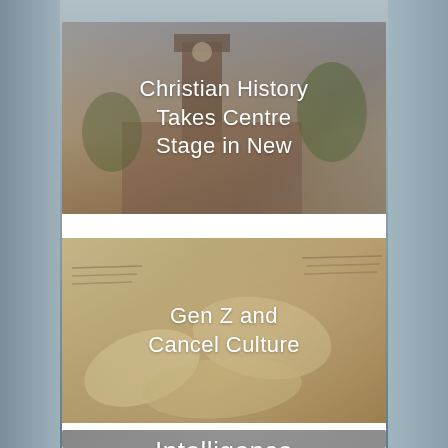[Figure (photo): Photo of a church building with a clock tower, warm tones, aerial-style city background. Overlaid text reads 'Christian History Takes Centre Stage in New'.]
Christian History Takes Centre Stage in New
[Figure (photo): Photo of crumpled and scattered paper pages with printed text, warm beige/sepia tones. Overlaid text reads 'Gen Z and Cancel Culture'.]
Gen Z and Cancel Culture
[Figure (photo): Partial photo at the bottom of the page. Overlaid text partially visible reads 'Intelligence'.]
Intelligence